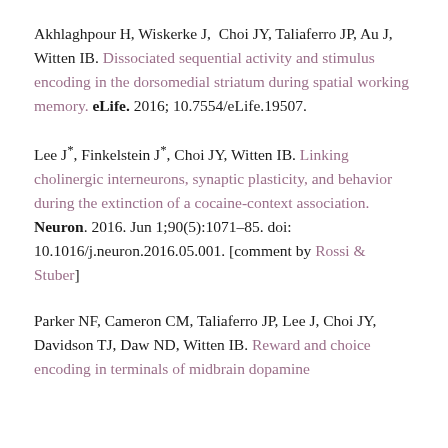Akhlaghpour H, Wiskerke J, Choi JY, Taliaferro JP, Au J, Witten IB. Dissociated sequential activity and stimulus encoding in the dorsomedial striatum during spatial working memory. eLife. 2016; 10.7554/eLife.19507.
Lee J*, Finkelstein J*, Choi JY, Witten IB. Linking cholinergic interneurons, synaptic plasticity, and behavior during the extinction of a cocaine-context association. Neuron. 2016. Jun 1;90(5):1071–85. doi: 10.1016/j.neuron.2016.05.001. [comment by Rossi & Stuber]
Parker NF, Cameron CM, Taliaferro JP, Lee J, Choi JY, Davidson TJ, Daw ND, Witten IB. Reward and choice encoding in terminals of midbrain dopamine